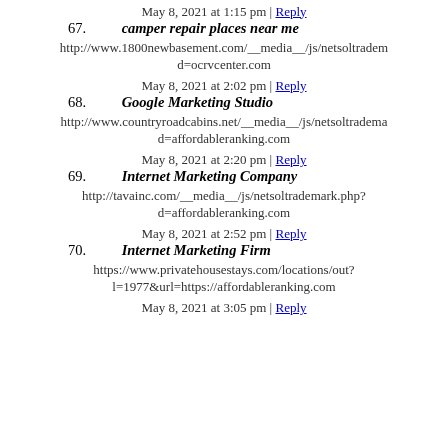d=affordableranking.com
67. camper repair places near me | May 8, 2021 at 1:15 pm | Reply | http://www.1800newbasement.com/__media__/js/netsoltrademark.php?d=ocrvcenter.com
68. Google Marketing Studio | May 8, 2021 at 2:02 pm | Reply | http://www.countryroadcabins.net/__media__/js/netsoltrademark.php?d=affordableranking.com
69. Internet Marketing Company | May 8, 2021 at 2:20 pm | Reply | http://tavainc.com/__media__/js/netsoltrademark.php?d=affordableranking.com
70. Internet Marketing Firm | May 8, 2021 at 2:52 pm | Reply | https://www.privatehousestays.com/locations/out?l=1977&url=https://affordableranking.com